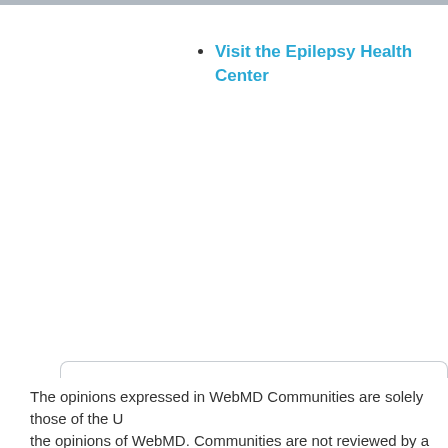Visit the Epilepsy Health Center
The opinions expressed in WebMD Communities are solely those of the U... the opinions of WebMD. Communities are not reviewed by a WebMD phys...